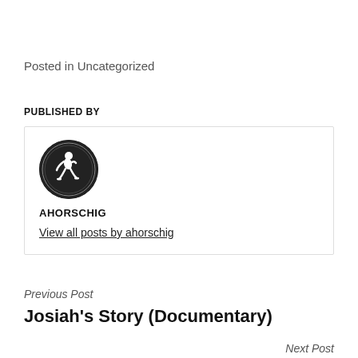Posted in Uncategorized
PUBLISHED BY
[Figure (logo): Circular university seal/logo with a crouching figure in the center on a dark background]
AHORSCHIG
View all posts by ahorschig
Previous Post
Josiah's Story (Documentary)
Next Post